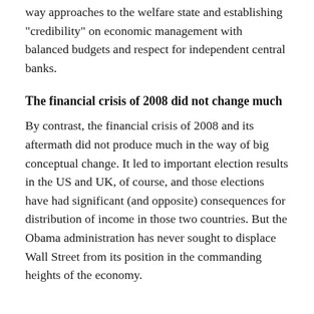way approaches to the welfare state and establishing "credibility" on economic management with balanced budgets and respect for independent central banks.
The financial crisis of 2008 did not change much
By contrast, the financial crisis of 2008 and its aftermath did not produce much in the way of big conceptual change. It led to important election results in the US and UK, of course, and those elections have had significant (and opposite) consequences for distribution of income in those two countries. But the Obama administration has never sought to displace Wall Street from its position in the commanding heights of the economy.